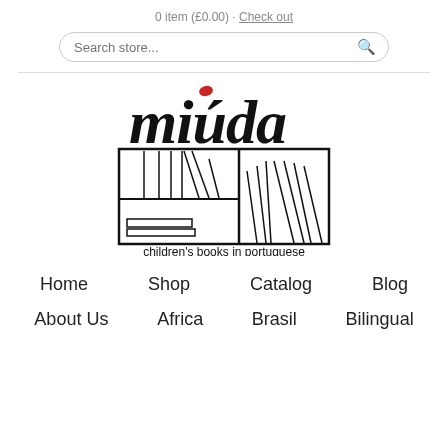0 item (£0.00) · Check out
[Figure (logo): Miuda logo: handwritten 'miúda' text in black with a small red dot accent above the 'u', above a hand-drawn bookshelf illustration containing books, with the tagline 'children's books in portuguese' below]
Home
Shop
Catalog
Blog
About Us
Africa
Brasil
Bilingual